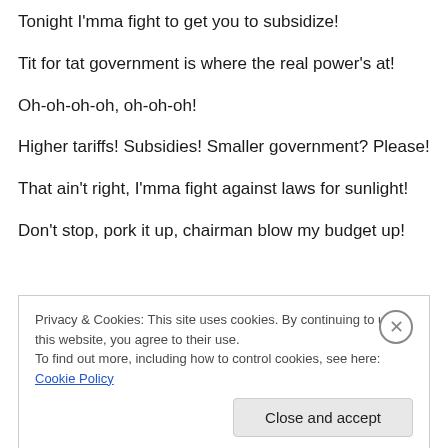Tonight I'mma fight to get you to subsidize!
Tit for tat government is where the real power's at!
Oh-oh-oh-oh, oh-oh-oh!
Higher tariffs! Subsidies! Smaller government? Please!
That ain't right, I'mma fight against laws for sunlight!
Don't stop, pork it up, chairman blow my budget up!
Privacy & Cookies: This site uses cookies. By continuing to use this website, you agree to their use. To find out more, including how to control cookies, see here: Cookie Policy
Close and accept